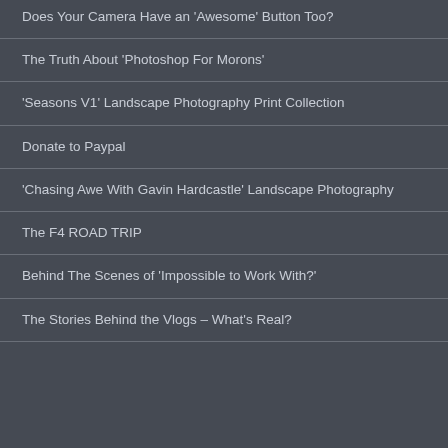Does Your Camera Have an 'Awesome' Button Too?
The Truth About 'Photoshop For Morons'
'Seasons V1' Landscape Photography Print Collection
Donate to Paypal
'Chasing Awe With Gavin Hardcastle' Landscape Photography
The F4 ROAD TRIP
Behind The Scenes of 'Impossible to Work With?'
The Stories Behind the Vlogs – What's Real?